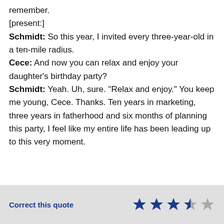remember.
[present:]
Schmidt: So this year, I invited every three-year-old in a ten-mile radius.
Cece: And now you can relax and enjoy your daughter's birthday party?
Schmidt: Yeah. Uh, sure. "Relax and enjoy." You keep me young, Cece. Thanks. Ten years in marketing, three years in fatherhood and six months of planning this party, I feel like my entire life has been leading up to this very moment.
Correct this quote  ★★★½☆